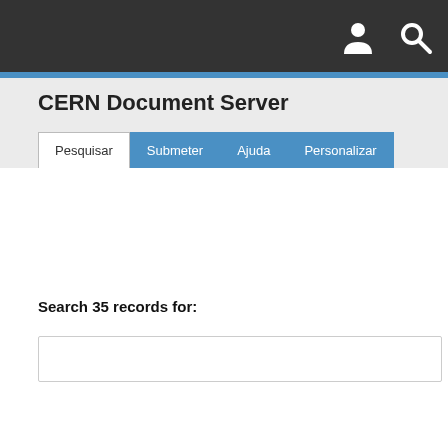CERN Document Server
CERN Document Server
Pesquisar  Submeter  Ajuda  Personalizar
Search 35 records for: